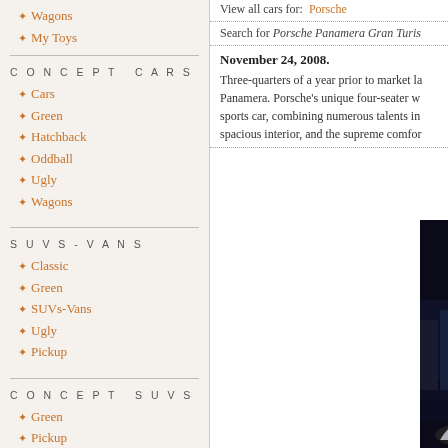Wagons
My Toys
CONCEPT CARS
Cars
Green
Hatchback
Oddball
Ugly
Wagons
SUVS-VANS
Classic
Green
SUVs-Vans
Ugly
Pickup
CONCEPT SUVS
Green
Pickup
SUV-VAN
View all cars for:  Porsche
Search for Porsche Panamera Gran Turis
November 24, 2008. Three-quarters of a year prior to market la... Panamera. Porsche's unique four-seater w... sports car, combining numerous talents in... spacious interior, and the supreme comfor...
[Figure (photo): Night photo of the Porsche Panamera in front of the Shanghai skyline featuring the Oriental Pearl Tower]